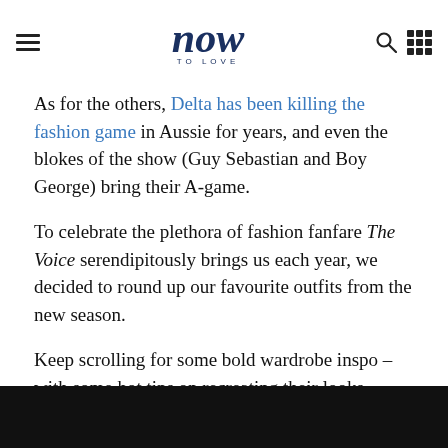now to love
As for the others, Delta has been killing the fashion game in Aussie for years, and even the blokes of the show (Guy Sebastian and Boy George) bring their A-game.
To celebrate the plethora of fashion fanfare The Voice serendipitously brings us each year, we decided to round up our favourite outfits from the new season.
Keep scrolling for some bold wardrobe inspo – with some hot tips on recreating their looks.